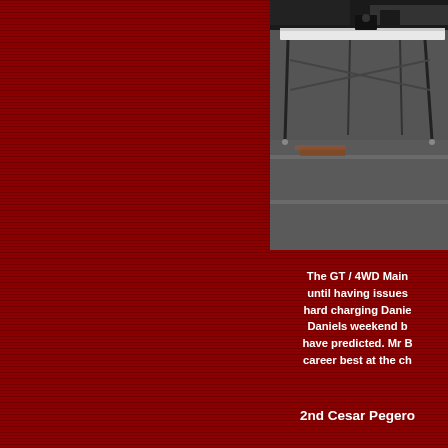[Figure (photo): Photograph of a folding table with trophies/awards on an asphalt surface, likely at a racing event. A white table with black legs is visible on a gray asphalt background.]
The GT / 4WD Main until having issues hard charging Danie Daniels weekend b have predicted. Mr B career best at the ch
2nd Cesar Pegero